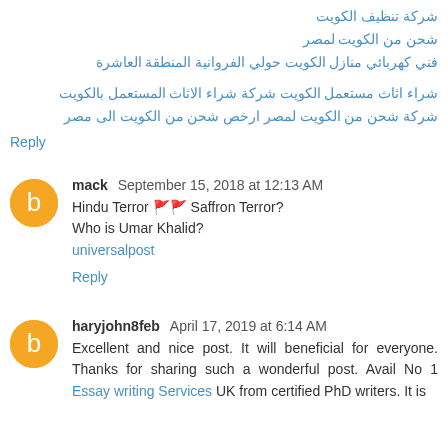شركة تنظيف الكويت
شحن من الكويت لمصر
فني كهربائي منازل الكويت حولي الفروانية المنطقة العاشرة
شراء اثاث مستعمل الكويت شركة شراء الاثاث المستعمل بالكويت
شركة شحن من الكويت لمصر ارخص شحن من الكويت الى مصر
Reply
mack  September 15, 2018 at 12:13 AM
Hindu Terror 🚩🚩 Saffron Terror?
Who is Umar Khalid?
universalpost
Reply
haryjohn8feb  April 17, 2019 at 6:14 AM
Excellent and nice post. It will beneficial for everyone. Thanks for sharing such a wonderful post. Avail No 1 Essay writing Services UK from certified PhD writers. It is